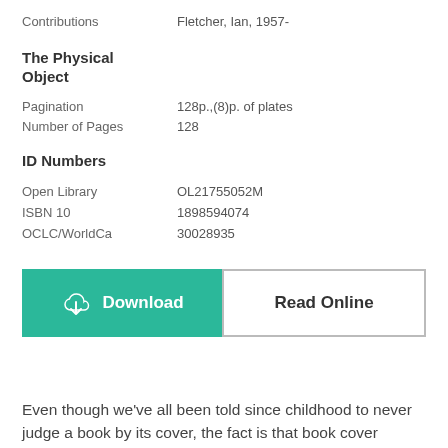Contributions	Fletcher, Ian, 1957-
The Physical Object
Pagination	128p.,(8)p. of plates
Number of Pages	128
ID Numbers
Open Library	OL21755052M
ISBN 10	1898594074
OCLC/WorldCa	30028935
[Figure (infographic): Two buttons side by side: a teal Download button with cloud/arrow icon, and a white Read Online button with border]
Even though we've all been told since childhood to never judge a book by its cover, the fact is that book cover